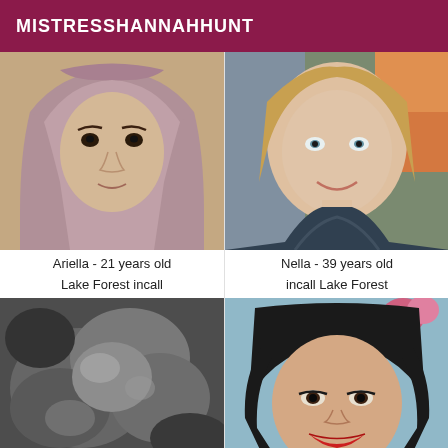MISTRESSHANNAHHUNT
[Figure (photo): Young woman wearing a pink/mauve hijab, close-up selfie portrait]
[Figure (photo): Blonde woman smiling, wearing a dark lace top, close-up selfie]
Ariella - 21 years old
Nella - 39 years old
Lake Forest incall
incall Lake Forest
[Figure (photo): Blurry dark abstract image, low quality close-up]
[Figure (photo): Dark-haired woman with red lipstick smiling, selfie portrait]